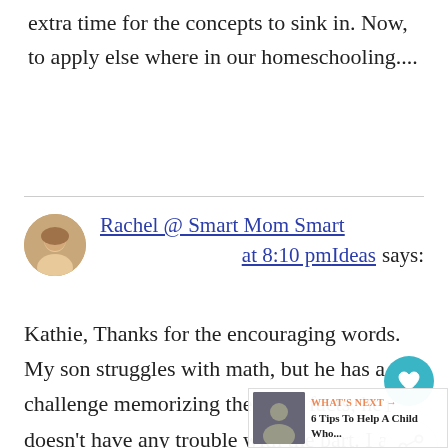extra time for the concepts to sink in. Now, to apply else where in our homeschooling....
Rachel @ Smart Mom Smart Ideas says: at 8:10 pm
Kathie, Thanks for the encouraging words. My son struggles with math, but he has a challenge memorizing the basic facts, he doesn't have any trouble with the part. I am a believer that knowing your basic